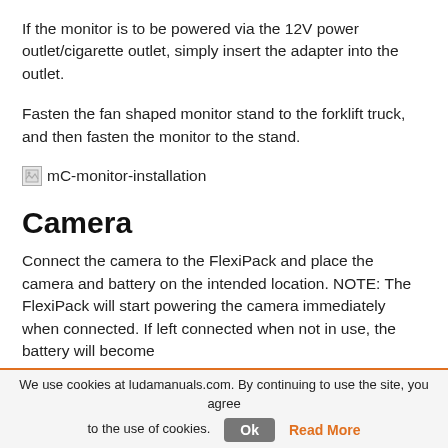If the monitor is to be powered via the 12V power outlet/cigarette outlet, simply insert the adapter into the outlet.
Fasten the fan shaped monitor stand to the forklift truck, and then fasten the monitor to the stand.
[Figure (other): Broken image placeholder labeled 'mC-monitor-installation']
Camera
Connect the camera to the FlexiPack and place the camera and battery on the intended location. NOTE: The FlexiPack will start powering the camera immediately when connected. If left connected when not in use, the battery will become
We use cookies at ludamanuals.com. By continuing to use the site, you agree to the use of cookies. Ok  Read More